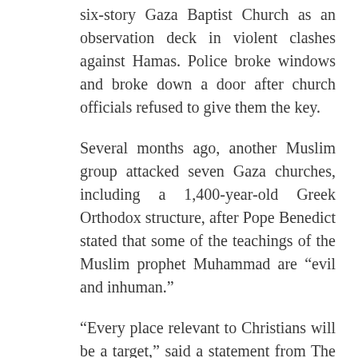six-story Gaza Baptist Church as an observation deck in violent clashes against Hamas. Police broke windows and broke down a door after church officials refused to give them the key.
Several months ago, another Muslim group attacked seven Gaza churches, including a 1,400-year-old Greek Orthodox structure, after Pope Benedict stated that some of the teachings of the Muslim prophet Muhammad are “evil and inhuman.”
“Every place relevant to Christians will be a target,” said a statement from The Army of Guidance. In Kalkilya, adjacent to Kfar Saba, the local Young Men’s Christian